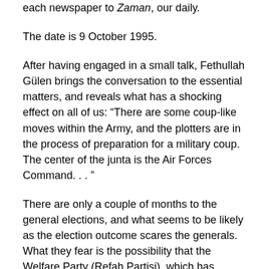each newspaper to Zaman, our daily.
The date is 9 October 1995.
After having engaged in a small talk, Fethullah Gülen brings the conversation to the essential matters, and reveals what has a shocking effect on all of us: “There are some coup-like moves within the Army, and the plotters are in the process of preparation for a military coup. The center of the junta is the Air Forces Command. . . ”
There are only a couple of months to the general elections, and what seems to be likely as the election outcome scares the generals. What they fear is the possibility that the Welfare Party (Refah Partisi), which has already seized many municipal administrations, noticeably in Istanbul and Ankara in the municipal elections, may now come to power.